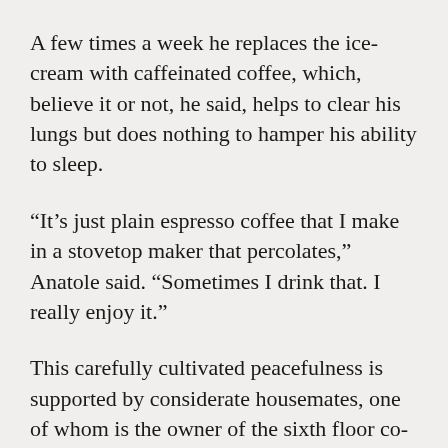A few times a week he replaces the ice-cream with caffeinated coffee, which, believe it or not, he said, helps to clear his lungs but does nothing to hamper his ability to sleep.
“It’s just plain espresso coffee that I make in a stovetop maker that percolates,” Anatole said. “Sometimes I drink that. I really enjoy it.”
This carefully cultivated peacefulness is supported by considerate housemates, one of whom is the owner of the sixth floor co-op apartment that adheres to rules that keep the noise on 145th Street in Harlem outside the building’s brick confines. The other housemate is a successful food-delivery who sometimes